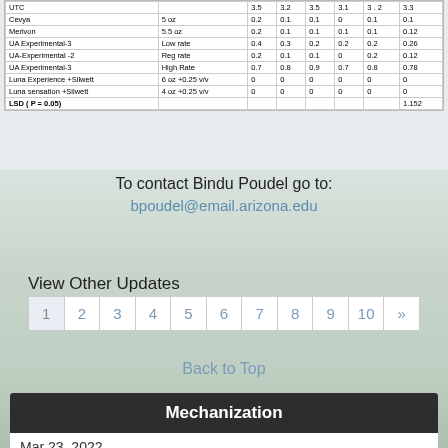|  |  |  |  |  |  |  |  |
| --- | --- | --- | --- | --- | --- | --- | --- |
| UTC |  | 3.5 | 3.2 | 3.5 | 3.1 | 3.2 | 3.3 |
| Cevya | 5 oz | 0.2 | 0.1 | 0.1 | 0 | 0.1 | 0.1 |
| Merivon | 5.5 oz | 0.2 | 0.1 | 0.1 | 0.1 | 0.1 | 0.12 |
| UA Experimental-3 | Low rate | 0.4 | 0.3 | 0.2 | 0.2 | 0.2 | 0.26 |
| UA-Experimental -2 | Reg rate | 0.2 | 0.1 | 0.1 | 0 | 0.2 | 0.12 |
| UA Experimental-3 | High Rate | 0.7 | 0.8 | 0.9 | 0.7 | 0.8 | 0.78 |
| Luna Experience +Silwett | 6 oz +0.25 v/v | 0 | 0 | 0 | 0 | 0 | 0 |
| Luna sensation +Silwett | 4 oz +0.25 v/v | 0 | 0 | 0 | 0 | 0 | 0 |
| LSD ( P = 0.05) |  |  |  |  |  |  | 1.152 |
To contact Bindu Poudel go to:
bpoudel@email.arizona.edu
View Other Updates
1 2 3 4 5 6 7 8 9 10 »
Back to Top
Mechanization
Mar 23, 2022